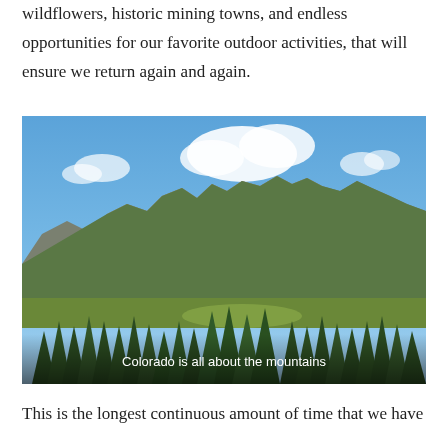wildflowers, historic mining towns, and endless opportunities for our favorite outdoor activities, that will ensure we return again and again.
[Figure (photo): Landscape photograph of Colorado mountains with rocky peaks, green forested slopes, pine trees in foreground, and blue sky with white clouds. Caption overlay reads 'Colorado is all about the mountains'.]
This is the longest continuous amount of time that we have